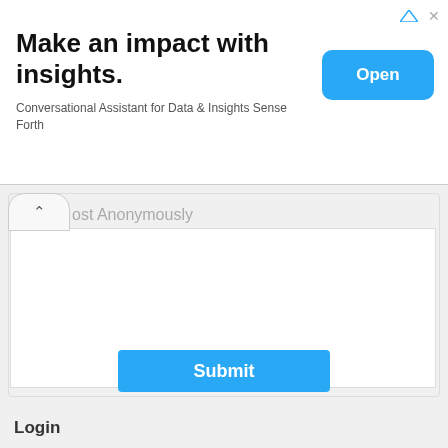Make an impact with insights.
Conversational Assistant for Data & Insights Sense Forth
Open
Post Anonymously
Submit
Login